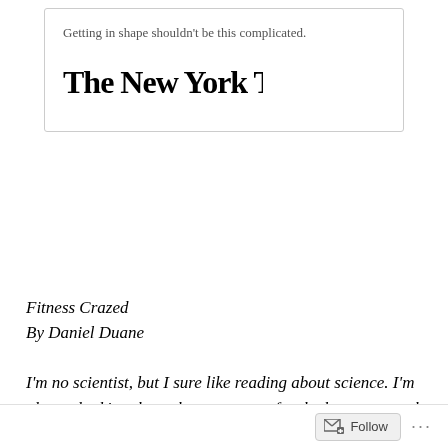Getting in shape shouldn't be this complicated.
[Figure (logo): The New York Times logo in blackletter/Old English typeface]
Fitness Crazed
By Daniel Duane
I'm no scientist, but I sure like reading about science. I'm always looking through newspapers for the latest research about saturated fat and whether it's still bad for you, or if maybe sugar is poison.